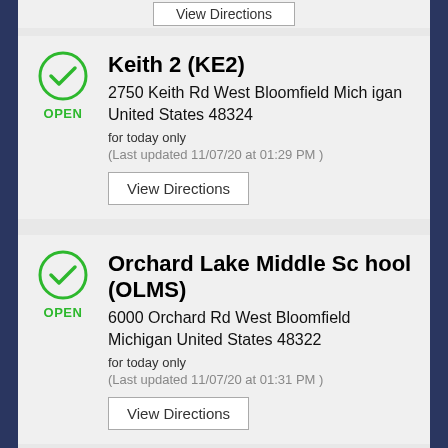Keith 2 (KE2) — 2750 Keith Rd West Bloomfield Michigan United States 48324 — for today only — (Last updated 11/07/20 at 01:29 PM ) — View Directions
Orchard Lake Middle School (OLMS) — 6000 Orchard Rd West Bloomfield Michigan United States 48322 — for today only — (Last updated 11/07/20 at 01:31 PM ) — View Directions